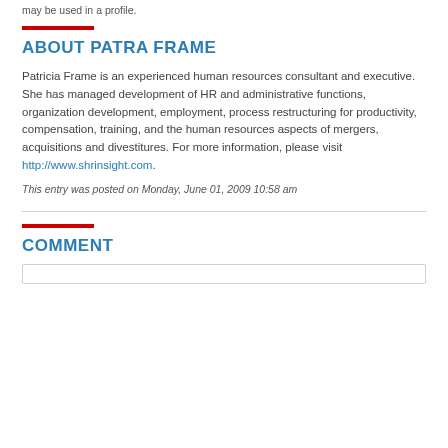may be used in a profile.
ABOUT PATRA FRAME
Patricia Frame is an experienced human resources consultant and executive. She has managed development of HR and administrative functions, organization development, employment, process restructuring for productivity, compensation, training, and the human resources aspects of mergers, acquisitions and divestitures. For more information, please visit http://www.shrinsight.com.
This entry was posted on Monday, June 01, 2009 10:58 am
COMMENT